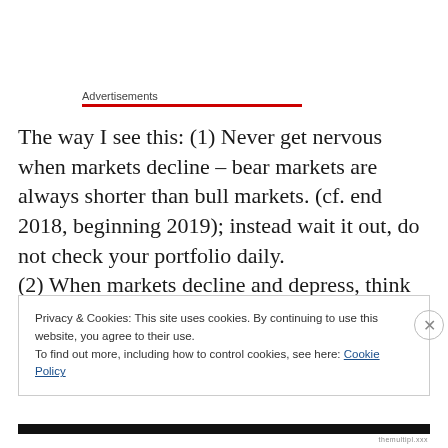Advertisements
The way I see this: (1) Never get nervous when markets decline – bear markets are always shorter than bull markets. (cf. end 2018, beginning 2019); instead wait it out, do not check your portfolio daily.
(2) When markets decline and depress, think before
Privacy & Cookies: This site uses cookies. By continuing to use this website, you agree to their use.
To find out more, including how to control cookies, see here: Cookie Policy
Close and accept